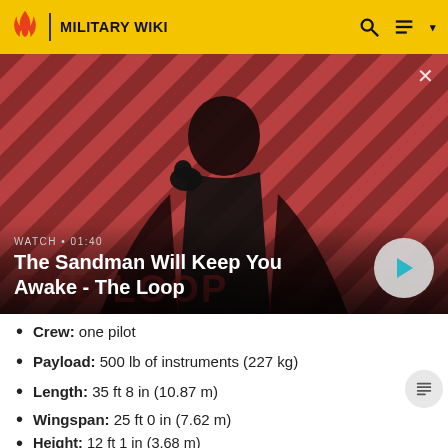MILITARY WIKI
[Figure (photo): Promotional image for 'The Sandman Will Keep You Awake - The Loop' showing a pale man in dark clothing with a black bird on his shoulder, against a red and dark diagonal striped background. Overlay text: WATCH • 01:40, The Sandman Will Keep You Awake - The Loop]
Crew: one pilot
Payload: 500 lb of instruments (227 kg)
Length: 35 ft 8 in (10.87 m)
Wingspan: 25 ft 0 in (7.62 m)
Height: 12 ft 1 in (3.68 m)